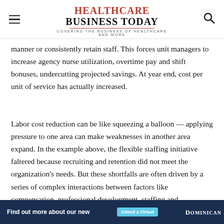Healthcare Business Today — Covering the Business of Healthcare and More
manner or consistently retain staff. This forces unit managers to increase agency nurse utilization, overtime pay and shift bonuses, undercutting projected savings. At year end, cost per unit of service has actually increased.
Labor cost reduction can be like squeezing a balloon — applying pressure to one area can make weaknesses in another area expand. In the example above, the flexible staffing initiative faltered because recruiting and retention did not meet the organization's needs. But these shortfalls are often driven by a series of complex interactions between factors like compensation, professional development, staffing and management structures.
[Figure (other): Advertisement banner: 'Find out more about our new' with Attend a Virtual button and Dominican logo on dark blue background]